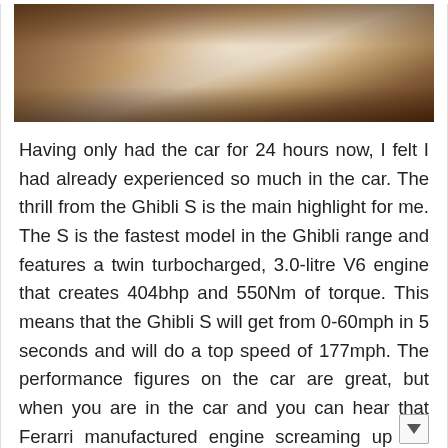[Figure (photo): A road or path photographed with warm brown/tan tones, with bright light in the center, appearing to show a gravel or dirt road from a low angle.]
Having only had the car for 24 hours now, I felt I had already experienced so much in the car. The thrill from the Ghibli S is the main highlight for me. The S is the fastest model in the Ghibli range and features a twin turbocharged, 3.0-litre V6 engine that creates 404bhp and 550Nm of torque. This means that the Ghibli S will get from 0-60mph in 5 seconds and will do a top speed of 177mph. The performance figures on the car are great, but when you are in the car and you can hear that Ferarri manufactured engine screaming up the rev range and popping between gears the car feels twice as fast and will get the blood pumping of any petrol head. To expand more, despite being a long, 4 door, luxury saloon the Maserati still has true sports car credentials. The steering